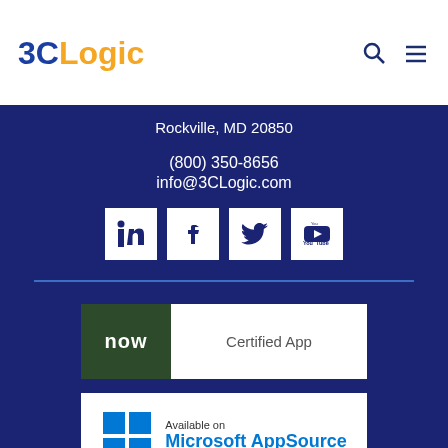3CLogic
Rockville, MD 20850
(800) 350-8656
info@3CLogic.com
[Figure (illustration): Social media icons: LinkedIn, Facebook, Twitter, YouTube]
[Figure (logo): ServiceNow Certified App badge]
[Figure (logo): Available on Microsoft AppSource badge]